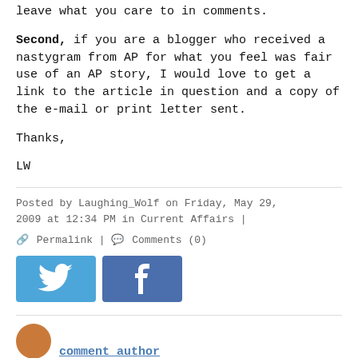leave what you care to in comments.
Second, if you are a blogger who received a nastygram from AP for what you feel was fair use of an AP story, I would love to get a link to the article in question and a copy of the e-mail or print letter sent.
Thanks,
LW
Posted by Laughing_Wolf on Friday, May 29, 2009 at 12:34 PM in Current Affairs |
🔗 Permalink | 💬 Comments (0)
[Figure (infographic): Twitter bird icon button (blue) and Facebook 'f' icon button (blue), side by side social sharing buttons]
[Figure (other): Partial avatar circle and partially visible comment author name at bottom of page]